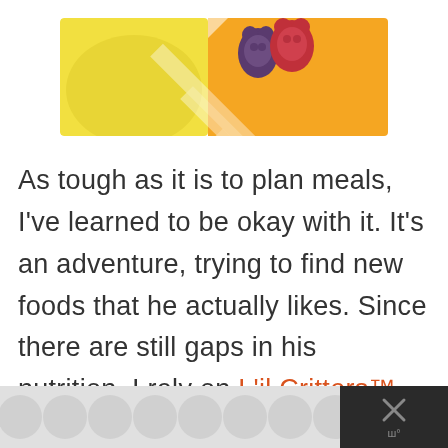[Figure (photo): Product image showing yellow background on left and orange-white diagonal striped background on right with two gummy bear candies (one purple/dark, one red/pink) on the striped section]
As tough as it is to plan meals, I've learned to be okay with it. It's an adventure, trying to find new foods that he actually likes. Since there are still gaps in his nutrition, I rely on L'il Critters™ Fruit n' Honey Bee Active Complete
[Figure (other): Share button icon - circular white button with share arrow icon and plus symbol]
[Figure (other): Bottom advertisement bar with grey bubble pattern on left and dark close button with X on right]